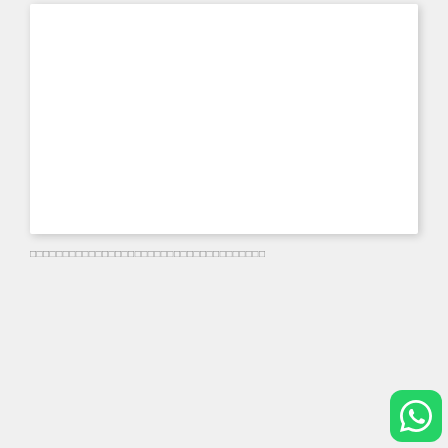[Figure (other): White rectangular box with shadow, likely a chart or image placeholder]
□□□□□□□□□□□□□□□□□□□□□□□□□□□□□□□□□□□□
88   15
6.00  .
04.00  .
1 2            2 3